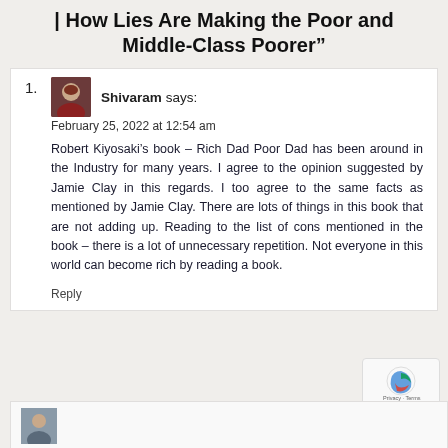| How Lies Are Making the Poor and Middle-Class Poorer"
1.
[Figure (photo): Avatar photo of commenter Shivaram, a man wearing dark clothing]
Shivaram says: February 25, 2022 at 12:54 am
Robert Kiyosaki's book – Rich Dad Poor Dad has been around in the Industry for many years. I agree to the opinion suggested by Jamie Clay in this regards. I too agree to the same facts as mentioned by Jamie Clay. There are lots of things in this book that are not adding up. Reading to the list of cons mentioned in the book – there is a lot of unnecessary repetition. Not everyone in this world can become rich by reading a book.
Reply
[Figure (screenshot): reCAPTCHA badge with Privacy and Terms links]
[Figure (photo): Partially visible avatar of a second commenter at the bottom of the page]